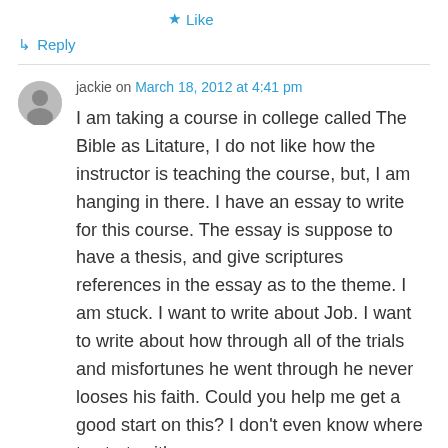★ Like
↳ Reply
jackie on March 18, 2012 at 4:41 pm
I am taking a course in college called The Bible as Litature, I do not like how the instructor is teaching the course, but, I am hanging in there. I have an essay to write for this course. The essay is suppose to have a thesis, and give scriptures references in the essay as to the theme. I am stuck. I want to write about Job. I want to write about how through all of the trials and misfortunes he went through he never looses his faith. Could you help me get a good start on this? I don't even know where to start, with